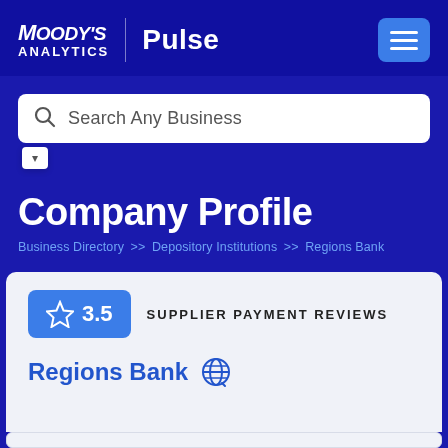Moody's Analytics | Pulse
[Figure (screenshot): Search bar with placeholder text 'Search Any Business']
Company Profile
Business Directory >> Depository Institutions >> Regions Bank
3.5  SUPPLIER PAYMENT REVIEWS
Regions Bank